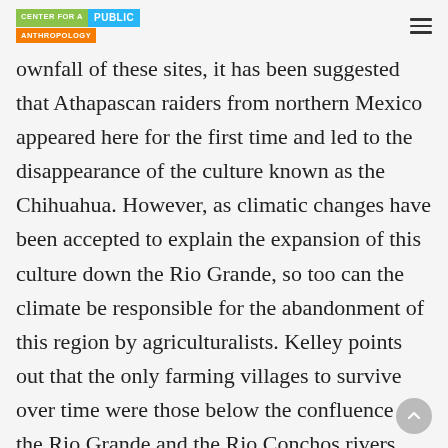Center for a Public Anthropology
ownfall of these sites, it has been suggested that Athapascan raiders from northern Mexico appeared here for the first time and led to the disappearance of the culture known as the Chihuahua. However, as climatic changes have been accepted to explain the expansion of this culture down the Rio Grande, so too can the climate be responsible for the abandonment of this region by agriculturalists. Kelley points out that the only farming villages to survive over time were those below the confluence of the Rio Grande and the Rio Conchos rivers, which is the area of greatest water supply.